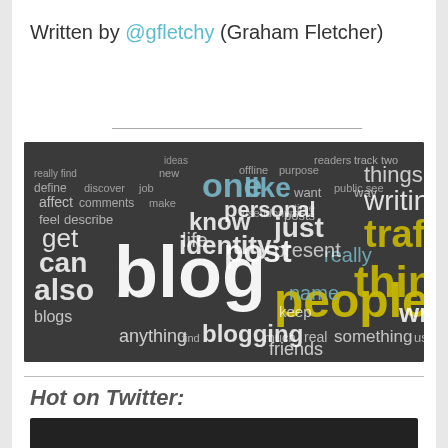Written by @gfletchy (Graham Fletcher)
[Figure (illustration): Word cloud with blogging-related words. Prominent words include 'blog', 'blogging', 'people', 'think', 'traffic', 'writing', 'things', 'post', 'like', 'one', 'know', 'identity', 'friends', 'life', 'get', 'can', 'also', 'write', 'real', 'name', 'keep', 'just', 'present', 'personal', and many more, displayed on a dark charcoal background in white, yellow/gold, and blue colors.]
Hot on Twitter: